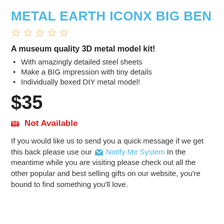METAL EARTH ICONX BIG BEN
★★★★★ (5 stars, empty/outline)
A museum quality 3D metal model kit!
With amazingly detailed steel sheets
Make a BIG impression with tiny details
Individually boxed DIY metal model!
$35
Not Available
If you would like us to send you a quick message if we get this back please use our Notify Me System In the meantime while you are visiting please check out all the other popular and best selling gifts on our website, you're bound to find something you'll love.